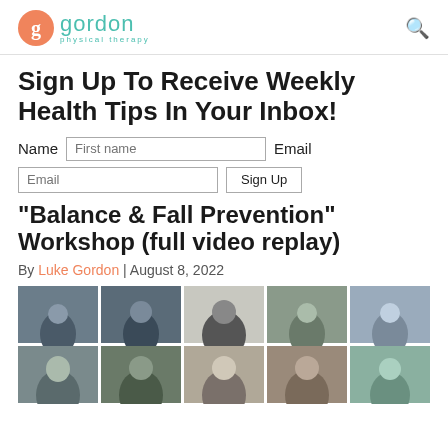[Figure (logo): Gordon Physical Therapy logo with orange circle containing 'g' and teal 'gordon physical therapy' text]
Sign Up To Receive Weekly Health Tips In Your Inbox!
Name [First name]  Email  [Email]  [Sign Up]
“Balance & Fall Prevention” Workshop (full video replay)
By Luke Gordon | August 8, 2022
[Figure (screenshot): Video replay thumbnail showing a grid of 10 video conference participants in a Zoom-style layout]